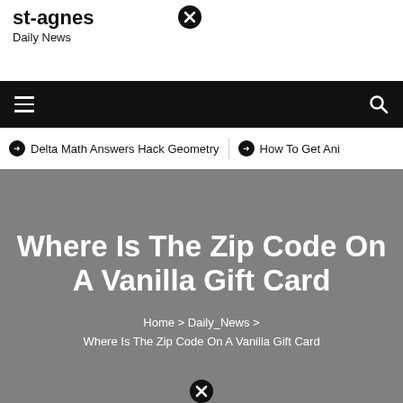st-agnes
Daily News
Delta Math Answers Hack Geometry   How To Get Ani
Where Is The Zip Code On A Vanilla Gift Card
Home > Daily_News > Where Is The Zip Code On A Vanilla Gift Card